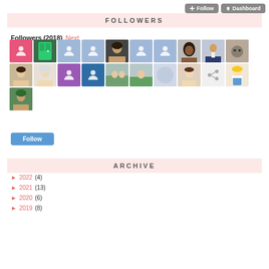+ Follow  Dashboard
FOLLOWERS
Followers (2018) Next
[Figure (other): Grid of 21 follower profile avatars in two rows, mix of real photos and default placeholder icons in pink, blue, and purple]
Follow
ARCHIVE
► 2022 (4)
► 2021 (13)
► 2020 (6)
► 2019 (8)